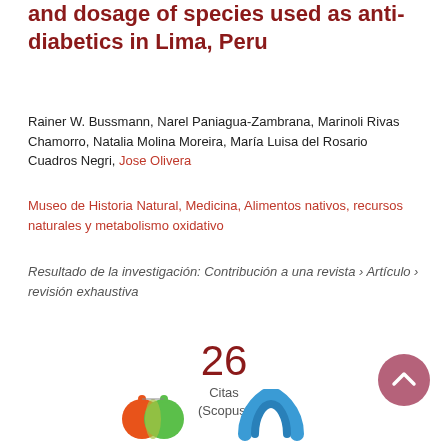and dosage of species used as anti-diabetics in Lima, Peru
Rainer W. Bussmann, Narel Paniagua-Zambrana, Marinoli Rivas Chamorro, Natalia Molina Moreira, María Luisa del Rosario Cuadros Negri, Jose Olivera
Museo de Historia Natural, Medicina, Alimentos nativos, recursos naturales y metabolismo oxidativo
Resultado de la investigación: Contribución a una revista › Artículo › revisión exhaustiva
26
Citas
(Scopus)
[Figure (logo): Scopus logo with orange and green circles]
[Figure (logo): Blue circular logo icon]
[Figure (illustration): Pink/mauve scroll-to-top button with upward chevron arrow]